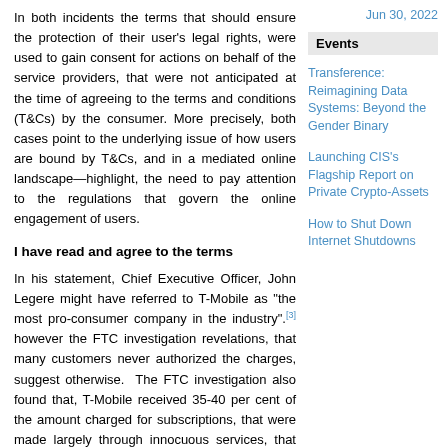Jun 30, 2022
In both incidents the terms that should ensure the protection of their user's legal rights, were used to gain consent for actions on behalf of the service providers, that were not anticipated at the time of agreeing to the terms and conditions (T&Cs) by the consumer. More precisely, both cases point to the underlying issue of how users are bound by T&Cs, and in a mediated online landscape—highlight, the need to pay attention to the regulations that govern the online engagement of users.
I have read and agree to the terms
In his statement, Chief Executive Officer, John Legere might have referred to T-Mobile as "the most pro-consumer company in the industry",[3] however the FTC investigation revelations, that many customers never authorized the charges, suggest otherwise.  The FTC investigation also found that, T-Mobile received 35-40 per cent of the amount charged for subscriptions, that were made largely through innocuous services, that customers had been signed up to, without their knowledge or consent. Last month news broke, that just under 700,000 users 'unknowingly' participated in the
Events
Transference: Reimagining Data Systems: Beyond the Gender Binary
Launching CIS's Flagship Report on Private Crypto-Assets
How to Shut Down Internet Shutdowns